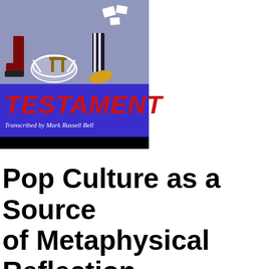[Figure (illustration): Book cover of 'Testament: Transcribed by Mark Russell Bell'. Upper portion shows illustrated figures with stylized legs/feet on a grey-blue background. Lower portion has a bright blue/purple background with 'TESTAMENT' in large red italic bold letters and subtitle 'Transcribed by Mark Russell Bell' in white italic text.]
Pop Culture as a Source of Metaphysical Reflection